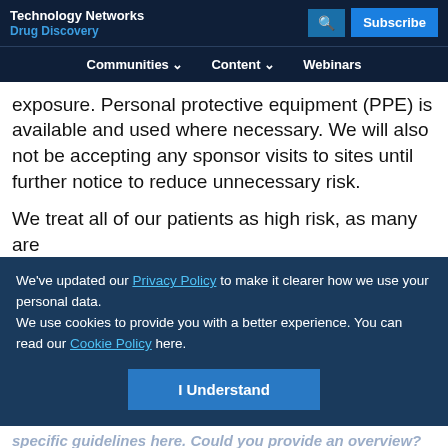Technology Networks Drug Discovery
Communities Content Webinars
exposure. Personal protective equipment (PPE) is available and used where necessary. We will also not be accepting any sponsor visits to sites until further notice to reduce unnecessary risk.
We treat all of our patients as high risk, as many are
We've updated our Privacy Policy to make it clearer how we use your personal data. We use cookies to provide you with a better experience. You can read our Cookie Policy here.
I Understand
Advertisement
[Figure (other): Dharmacon Reagents advertisement banner for Horizon with text Infinite Reliability and a More button]